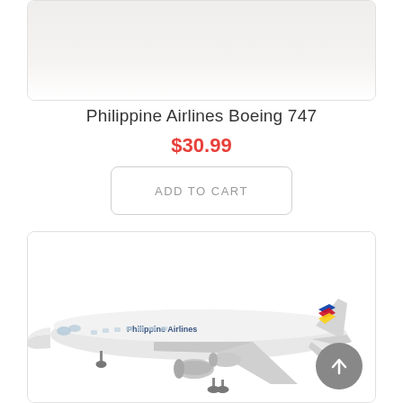[Figure (photo): Top portion of a Philippine Airlines Boeing 747 model airplane product card image, partially visible at top of page]
Philippine Airlines Boeing 747
$30.99
ADD TO CART
[Figure (photo): Philippine Airlines model airplane (Boeing 747) displayed on a white background, showing a white aircraft with Philippine Airlines livery including the blue 'Philippine Airlines' text and the Philippine flag colors on the tail]